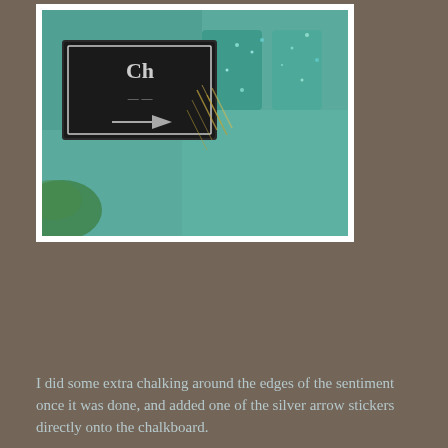[Figure (photo): A close-up photograph of a craft project featuring a decorative chalkboard-style piece with teal/turquoise painted letter shapes, straw or raffia material, and a dark rectangular chalkboard element with vintage typography. Set against a teal/aqua background with green leaves visible.]
I did some extra chalking around the edges of the sentiment once it was done, and added one of the silver arrow stickers directly onto the chalkboard.